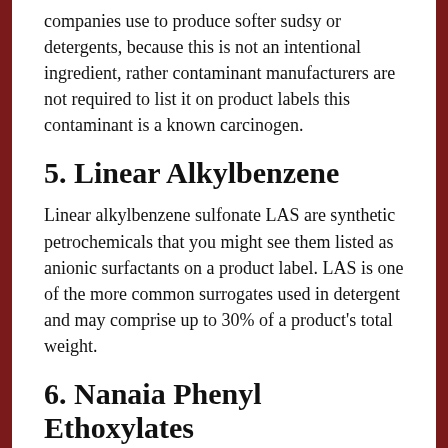companies use to produce softer sudsy or detergents, because this is not an intentional ingredient, rather contaminant manufacturers are not required to list it on product labels this contaminant is a known carcinogen.
5. Linear Alkylbenzene
Linear alkylbenzene sulfonate LAS are synthetic petrochemicals that you might see them listed as anionic surfactants on a product label. LAS is one of the more common surrogates used in detergent and may comprise up to 30% of a product's total weight.
6. Nanaia Phenyl Ethoxylates
6 Nanaia phenyl ethoxylates and PE is a type of inexpensive nonionic surfactant. it is a banned substance in Canada and the European Union but can still be found in the U.S. NPEs carrying a long list of